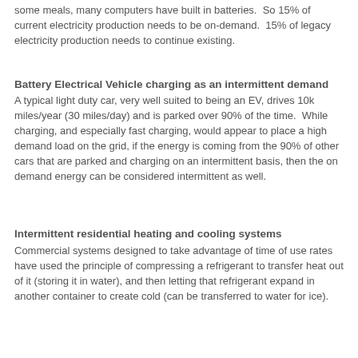some meals, many computers have built in batteries.  So 15% of current electricity production needs to be on-demand.  15% of legacy electricity production needs to continue existing.
Battery Electrical Vehicle charging as an intermittent demand
A typical light duty car, very well suited to being an EV, drives 10k miles/year (30 miles/day) and is parked over 90% of the time.  While charging, and especially fast charging, would appear to place a high demand load on the grid, if the energy is coming from the 90% of other cars that are parked and charging on an intermittent basis, then the on demand energy can be considered intermittent as well.
Intermittent residential heating and cooling systems
Commercial systems designed to take advantage of time of use rates have used the principle of compressing a refrigerant to transfer heat out of it (storing it in water), and then letting that refrigerant expand in another container to create cold (can be transferred to water for ice).